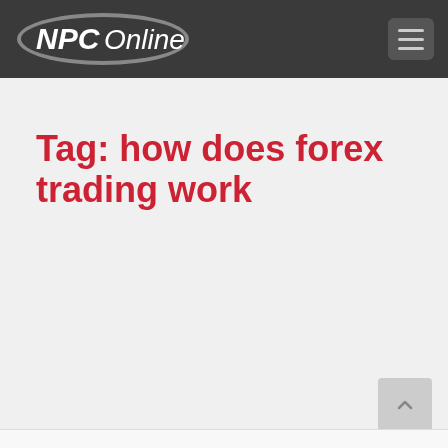NPC Online
Tag: how does forex trading work